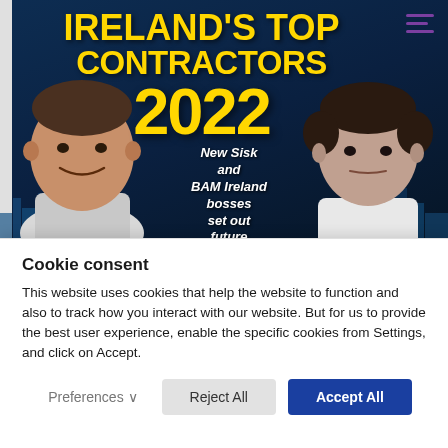[Figure (illustration): Banner image for 'Ireland's Top Contractors 2022' showing two businessmen with text overlay 'New Sisk and BAM Ireland bosses set out future visions' on a dark blue background with cityscape.]
Cookie consent
This website uses cookies that help the website to function and also to track how you interact with our website. But for us to provide the best user experience, enable the specific cookies from Settings, and click on Accept.